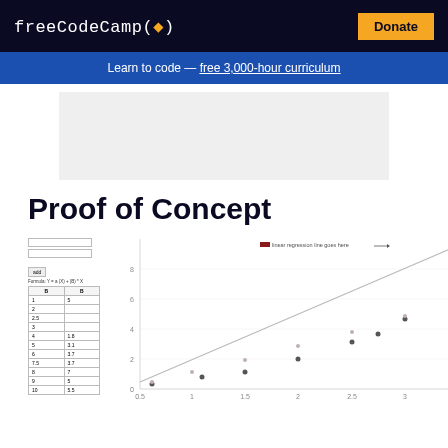freeCodeCamp(🔥)   Donate
Learn to code — free 3,000-hour curriculum
[Figure (other): Advertisement placeholder block (gray rectangle)]
Proof of Concept
[Figure (scatter-plot): Scatter plot with a linear regression line, alongside a data input table with columns A and B]